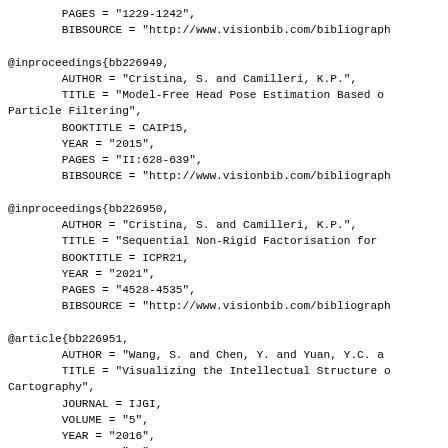PAGES = "1229-1242",
        BIBSOURCE = "http://www.visionbib.com/bibliograph

@inproceedings{bb226949,
        AUTHOR = "Cristina, S. and Camilleri, K.P.",
        TITLE = "Model-Free Head Pose Estimation Based o
Particle Filtering",
        BOOKTITLE = CAIP15,
        YEAR = "2015",
        PAGES = "II:628-639",
        BIBSOURCE = "http://www.visionbib.com/bibliograph

@inproceedings{bb226950,
        AUTHOR = "Cristina, S. and Camilleri, K.P.",
        TITLE = "Sequential Non-Rigid Factorisation for 
        BOOKTITLE = ICPR21,
        YEAR = "2021",
        PAGES = "4528-4535",
        BIBSOURCE = "http://www.visionbib.com/bibliograph

@article{bb226951,
        AUTHOR = "Wang, S. and Chen, Y. and Yuan, Y.C. a
        TITLE = "Visualizing the Intellectual Structure 
Cartography",
        JOURNAL = IJGI,
        VOLUME = "5",
        YEAR = "2016",
        NUMBER = "10",
        PAGES = "168",
        BIBSOURCE = "http://www.visionbib.com/bibliograph